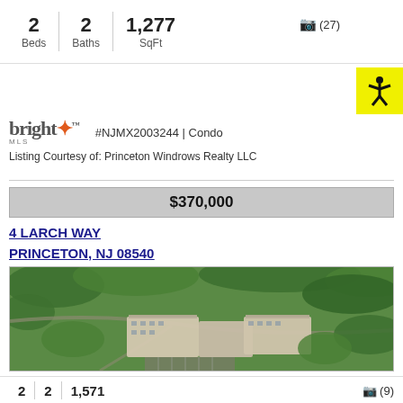2 Beds | 2 Baths | 1,277 SqFt
(27)
[Figure (illustration): Accessibility icon (person with arms outstretched) on yellow background]
#NJMX2003244 | Condo
Listing Courtesy of: Princeton Windrows Realty LLC
$370,000
4 LARCH WAY
PRINCETON, NJ 08540
[Figure (photo): Aerial drone photo of Princeton Windrows residential complex surrounded by trees and greenery]
2 Beds | 2 Baths | 1,571
(9)